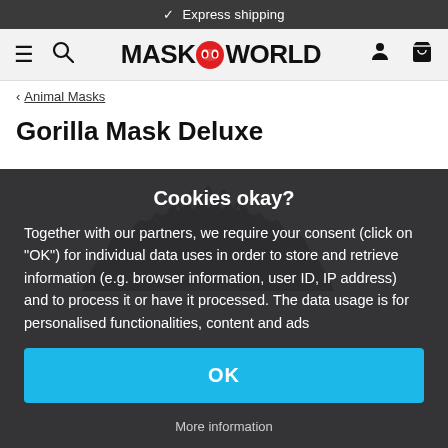✓ Express shipping
[Figure (logo): MaskWorld logo with red circle mask icon in navigation bar with hamburger menu, search, person, and cart icons]
< Animal Masks
Gorilla Mask Deluxe
[Figure (photo): Gorilla mask product photo showing black furry gorilla head mask from above]
Cookies okay?
Together with our partners, we require your consent (click on "OK") for individual data uses in order to store and retrieve information (e.g. browser information, user ID, IP address) and to process it or have it processed. The data usage is for personalised functionalities, content and ads
OK
More information